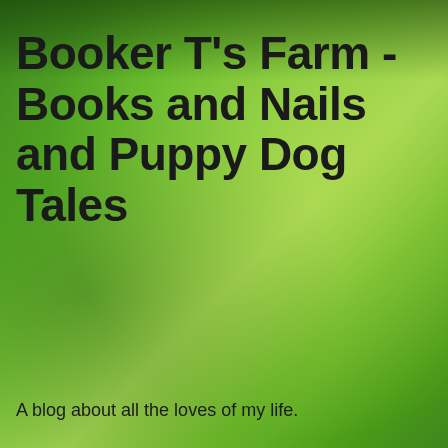Booker T's Farm - Books and Nails and Puppy Dog Tales
A blog about all the loves of my life.
FRIDAY, MAY 18, 2018
Weekly Reads (05/18/18)
[Figure (illustration): Green book cover with a large white dog paw print in the center and a yellow daisy flower in the upper right corner, surrounded by a thick black border frame]